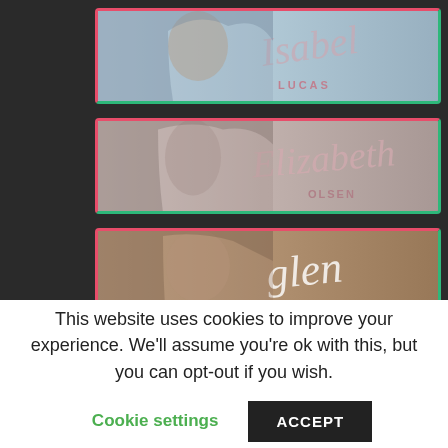[Figure (photo): Celebrity card banner for Isabel Lucas with script signature and name, pink/green border on dark background]
[Figure (photo): Celebrity card banner for Elizabeth Olsen with script signature and name, pink/green border on dark background]
[Figure (photo): Celebrity card banner for Glen Powell with script signature and name, pink/green border on dark background]
This website uses cookies to improve your experience. We'll assume you're ok with this, but you can opt-out if you wish.
Cookie settings
ACCEPT